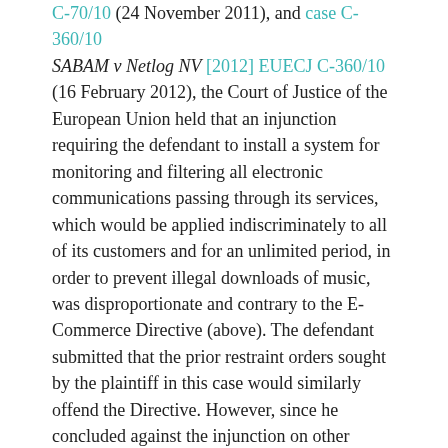C-70/10 (24 November 2011), and case C-360/10 SABAM v Netlog NV [2012] EUECJ C-360/10 (16 February 2012), the Court of Justice of the European Union held that an injunction requiring the defendant to install a system for monitoring and filtering all electronic communications passing through its services, which would be applied indiscriminately to all of its customers and for an unlimited period, in order to prevent illegal downloads of music, was disproportionate and contrary to the E-Commerce Directive (above). The defendant submitted that the prior restraint orders sought by the plaintiff in this case would similarly offend the Directive. However, since he concluded against the injunction on other grounds, he did not have to consider this ingenious argument, and in the event did not do so.
Conclusion
The judgment of Binchy J in Muwema v Facebook is the latest word on the liability of internet intermediaries for